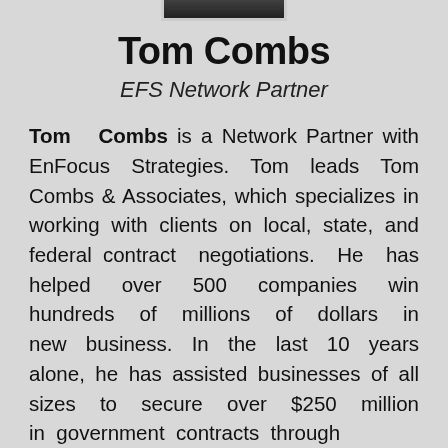[Figure (photo): Portrait photo of Tom Combs, partially visible at top of page]
Tom Combs
EFS Network Partner
Tom Combs is a Network Partner with EnFocus Strategies. Tom leads Tom Combs & Associates, which specializes in working with clients on local, state, and federal contract negotiations. He has helped over 500 companies win hundreds of millions of dollars in new business. In the last 10 years alone, he has assisted businesses of all sizes to secure over $250 million in government contracts through